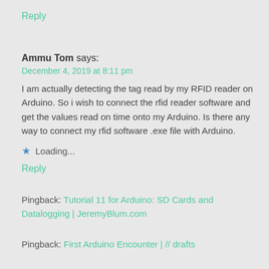Reply
Ammu Tom says:
December 4, 2019 at 8:11 pm
I am actually detecting the tag read by my RFID reader on Arduino. So i wish to connect the rfid reader software and get the values read on time onto my Arduino. Is there any way to connect my rfid software .exe file with Arduino.
Loading...
Reply
Pingback: Tutorial 11 for Arduino: SD Cards and Datalogging | JeremyBlum.com
Pingback: First Arduino Encounter | // drafts